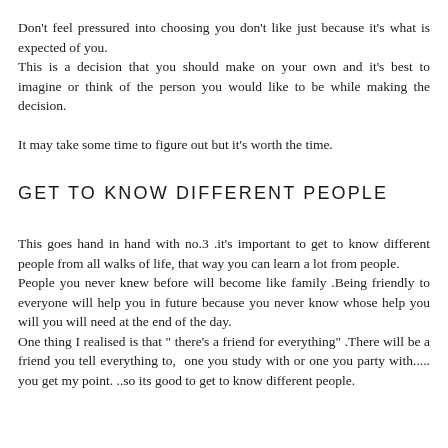Don't feel pressured into choosing you don't like just because it's what is expected of you.
This is a decision that you should make on your own and it's best to imagine or think of the person you would like to be while making the decision.

It may take some time to figure out but it's worth the time.
GET TO KNOW DIFFERENT PEOPLE
This goes hand in hand with no.3 .it's important to get to know different people from all walks of life, that way you can learn a lot from people.
People you never knew before will become like family .Being friendly to everyone will help you in future because you never know whose help you will you will need at the end of the day.
One thing I realised is that " there's a friend for everything" .There will be a friend you tell everything to,  one you study with or one you party with..... you get my point. ..so its good to get to know different people.